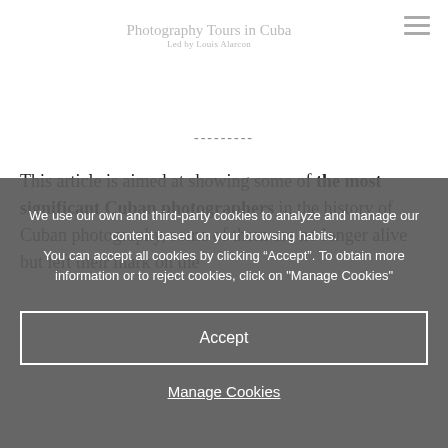Photography Tours in Cuba
Led by Louis Alarcon
---------
This article is aimed at showing some of the most significant Cuban photographers in the history of Cuban photography, some of them are no longer alive but left their mark on the
We use our own and third-party cookies to analyze and manage our content based on your browsing habits.
You can accept all cookies by clicking “Accept”. To obtain more information or to reject cookies, click on "Manage Cookies"
Accept
Manage Cookies